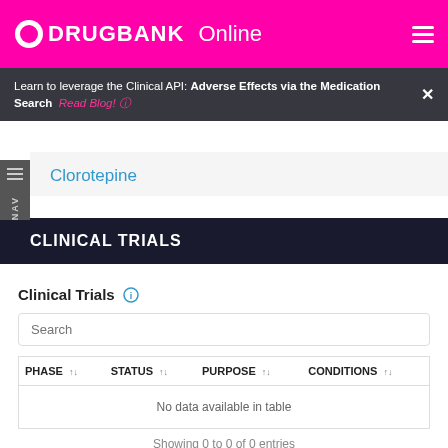DRUGBANK Online
Learn to leverage the Clinical API: Adverse Effects via the Medication Search  Read Blog!
Clorotepine
CLINICAL TRIALS
Clinical Trials
| PHASE | STATUS | PURPOSE | CONDITIONS |
| --- | --- | --- | --- |
| No data available in table |  |  |  |
Showing 0 to 0 of 0 entries